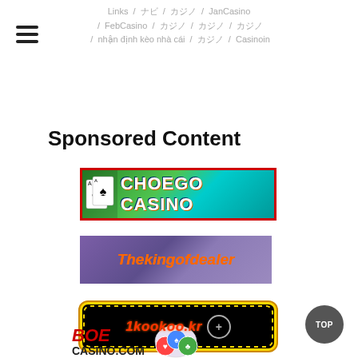Links / ナビ / カジノ / JanCasino / FebCasino / カジノ / カジノ / カジノ / nhận định kèo nhà cái / カジノ / Casinoin
Sponsored Content
[Figure (logo): CHOEGO CASINO banner with card suit icons on green/teal background with red border]
[Figure (logo): Thekingofdealer banner with orange italic text on purple background]
[Figure (logo): 1kookoo.kr banner with red italic text on black background with yellow dotted border]
[Figure (logo): BOE CASINO.COM logo with playing card chips graphic]